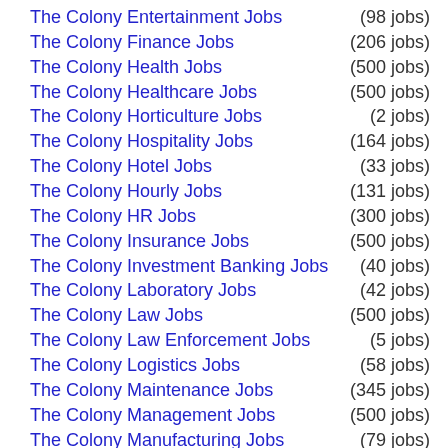The Colony Entertainment Jobs (98 jobs)
The Colony Finance Jobs (206 jobs)
The Colony Health Jobs (500 jobs)
The Colony Healthcare Jobs (500 jobs)
The Colony Horticulture Jobs (2 jobs)
The Colony Hospitality Jobs (164 jobs)
The Colony Hotel Jobs (33 jobs)
The Colony Hourly Jobs (131 jobs)
The Colony HR Jobs (300 jobs)
The Colony Insurance Jobs (500 jobs)
The Colony Investment Banking Jobs (40 jobs)
The Colony Laboratory Jobs (42 jobs)
The Colony Law Jobs (500 jobs)
The Colony Law Enforcement Jobs (5 jobs)
The Colony Logistics Jobs (58 jobs)
The Colony Maintenance Jobs (345 jobs)
The Colony Management Jobs (500 jobs)
The Colony Manufacturing Jobs (79 jobs)
The Colony Marketing Jobs (163 jobs)
The Colony Medical Jobs (500 jobs)